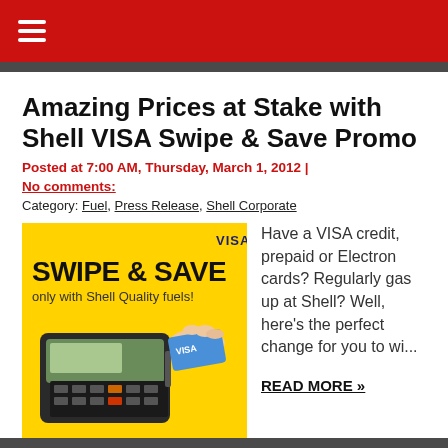≡ (hamburger menu)
Amazing Prices at Stake with Shell VISA Swipe & Save Promo
Posted at 7:00 AM, Thursday, March 1, 2012 | No comments:
Category: Fuel, Press Release, Shell Corporate
[Figure (photo): Shell VISA Swipe & Save promotional image showing a hand inserting a VISA card into a payment terminal on a yellow background with text 'SWIPE & SAVE only with Shell Quality fuels!']
Have a VISA credit, prepaid or Electron cards? Regularly gas up at Shell? Well, here's the perfect change for you to wi...
READ MORE »